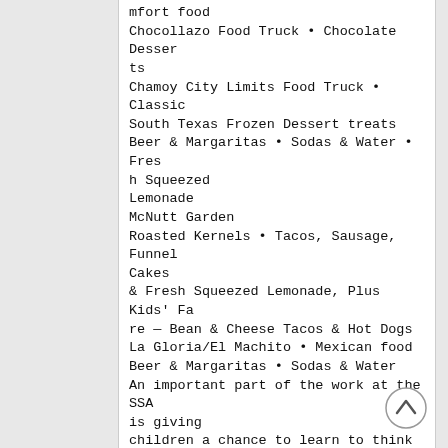mfort food
Chocollazo Food Truck • Chocolate Desserts
Chamoy City Limits Food Truck • Classic South Texas Frozen Dessert treats
Beer & Margaritas • Sodas & Water • Fresh Squeezed Lemonade
McNutt Garden
Roasted Kernels • Tacos, Sausage, Funnel Cakes
& Fresh Squeezed Lemonade, Plus Kids' Fare — Bean & Cheese Tacos & Hot Dogs
La Gloria/El Machito • Mexican food
Beer & Margaritas • Sodas & Water
An important part of the work at the SSA is giving children a chance to learn to think creatively through hands-on visual arts opportunities. Programs for young artists include, with more than 100 week-long classes for ages 5 – 18; Teen Studio Int